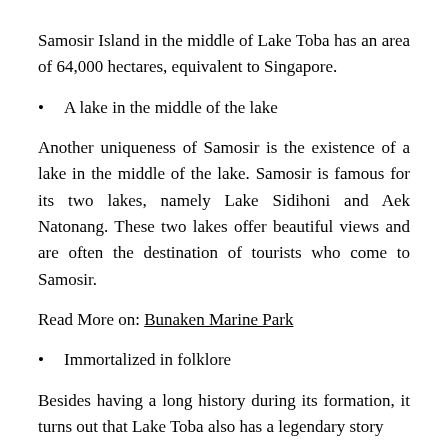Samosir Island in the middle of Lake Toba has an area of 64,000 hectares, equivalent to Singapore.
A lake in the middle of the lake
Another uniqueness of Samosir is the existence of a lake in the middle of the lake. Samosir is famous for its two lakes, namely Lake Sidihoni and Aek Natonang. These two lakes offer beautiful views and are often the destination of tourists who come to Samosir.
Read More on: Bunaken Marine Park
Immortalized in folklore
Besides having a long history during its formation, it turns out that Lake Toba also has a legendary story